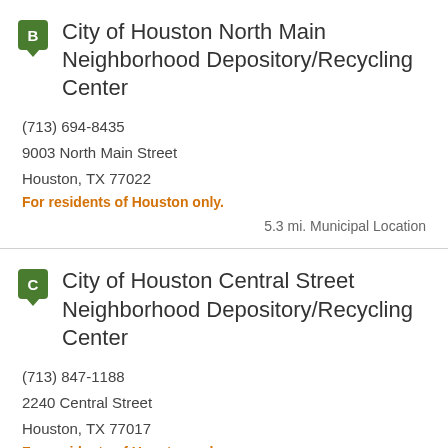City of Houston North Main Neighborhood Depository/Recycling Center
(713) 694-8435
9003 North Main Street
Houston, TX 77022
For residents of Houston only.
5.3 mi. Municipal Location
City of Houston Central Street Neighborhood Depository/Recycling Center
(713) 847-1188
2240 Central Street
Houston, TX 77017
For residents of Houston only.
6.9 mi. Municipal Location